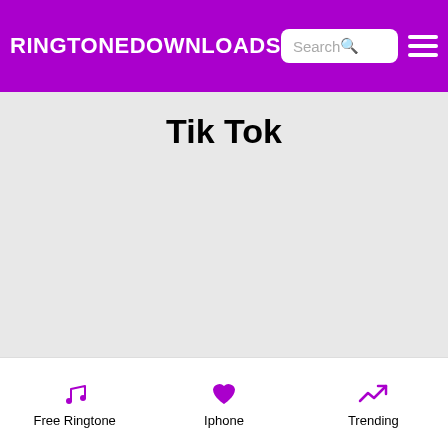RINGTONEDOWNLOADS
Tik Tok
Free Ringtone  Iphone  Trending